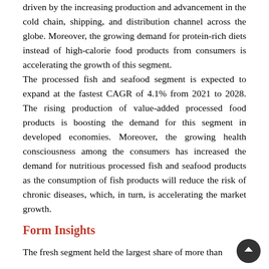driven by the increasing production and advancement in the cold chain, shipping, and distribution channel across the globe. Moreover, the growing demand for protein-rich diets instead of high-calorie food products from consumers is accelerating the growth of this segment.
The processed fish and seafood segment is expected to expand at the fastest CAGR of 4.1% from 2021 to 2028. The rising production of value-added processed food products is boosting the demand for this segment in developed economies. Moreover, the growing health consciousness among the consumers has increased the demand for nutritious processed fish and seafood products as the consumption of fish products will reduce the risk of chronic diseases, which, in turn, is accelerating the market growth.
Form Insights
The fresh segment held the largest share of more than